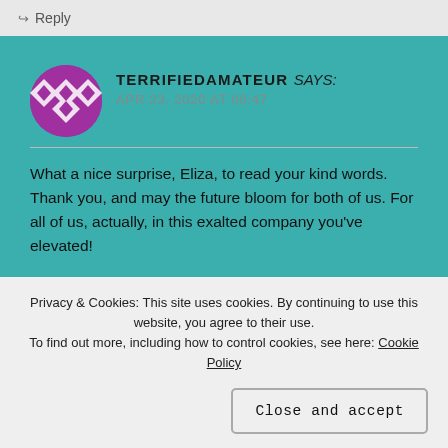↪ Reply
TERRIFIEDAMATEUR says: APR 23, 2020 AT 00:47
What a nice surprise, Eliza, to read your kind words. Thank you, and may the future bloom for both of us. For all of us, actually, in this exalted company you've elevated!
Like you, I've been flattered with a few award nominations before. Immensely pleasing, and receiving them moves me
Privacy & Cookies: This site uses cookies. By continuing to use this website, you agree to their use.
To find out more, including how to control cookies, see here: Cookie Policy
Close and accept